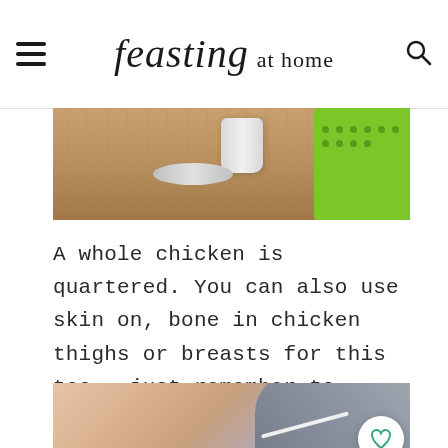feasting at home
[Figure (photo): Top photo showing kitchen items including a white ceramic container, a lime green measuring tool/ruler on a wooden surface]
A whole chicken is quartered. You can also use skin on, bone in chicken thighs or breasts for this too...just remember to adjust cooking time.
[Figure (photo): Bottom photo showing a bowl and lid/pan on a light background]